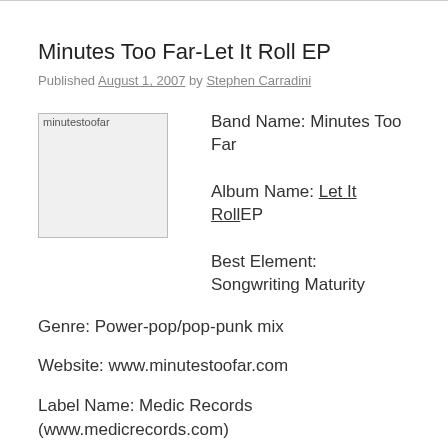Minutes Too Far-Let It Roll EP
Published August 1, 2007 by Stephen Carradini
[Figure (photo): minutestoofar band image placeholder]
Band Name: Minutes Too Far
Album Name: Let It RollEP
Best Element: Songwriting Maturity
Genre: Power-pop/pop-punk mix
Website: www.minutestoofar.com
Label Name: Medic Records (www.medicrecords.com)